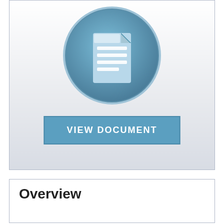[Figure (illustration): A circular blue icon with a document/file symbol (white document with lines) in the center, shown above a light gray gradient background panel with a 'VIEW DOCUMENT' button below]
Overview